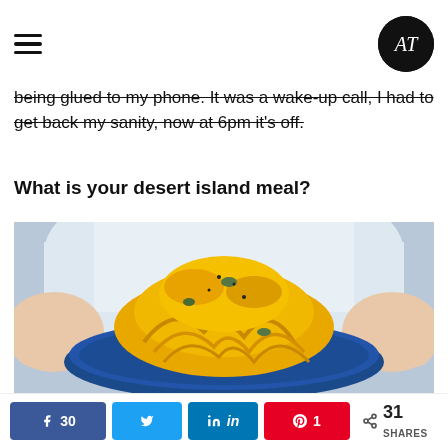AT logo and hamburger menu
being glued to my phone. It was a wake-up call, I had to get back my sanity, now at 6pm it's off.
What is your desert island meal?
[Figure (photo): Person in white shirt holding a blue decorative plate with a mound of golden yellow pasta (fettuccine) with sauce and herbs]
30  [Facebook share]  [Twitter share]  [LinkedIn share]  1 [Pinterest share]  < 31 SHARES